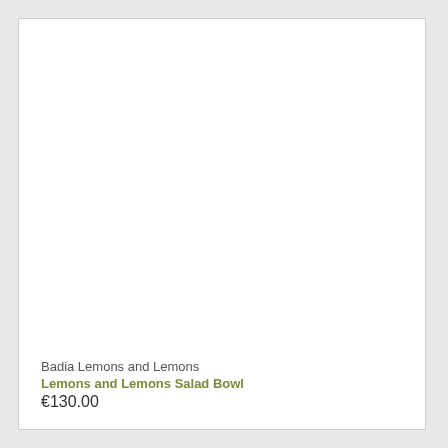[Figure (photo): White product card with empty image area showing a salad bowl product]
Badia Lemons and Lemons
Lemons and Lemons Salad Bowl
€130.00